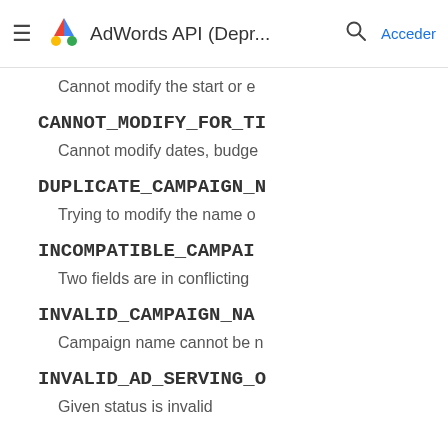AdWords API (Depr... — Acceder
Cannot modify the start or e
CANNOT_MODIFY_FOR_TI
Cannot modify dates, budge
DUPLICATE_CAMPAIGN_N
Trying to modify the name o
INCOMPATIBLE_CAMPAI
Two fields are in conflicting
INVALID_CAMPAIGN_NAM
Campaign name cannot be n
INVALID_AD_SERVING_O
Given status is invalid